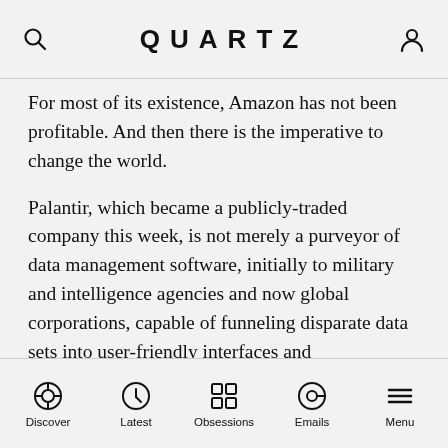QUARTZ
For most of its existence, Amazon has not been profitable. And then there is the imperative to change the world.
Palantir, which became a publicly-traded company this week, is not merely a purveyor of data management software, initially to military and intelligence agencies and now global corporations, capable of funneling disparate data sets into user-friendly interfaces and visualizations said to help with everything from military strikes to building jets.
Discover | Latest | Obsessions | Emails | Menu